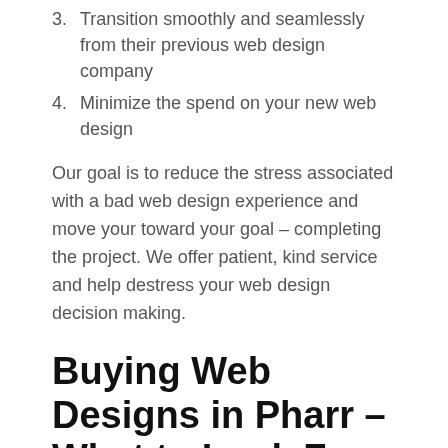3. Transition smoothly and seamlessly from their previous web design company
4. Minimize the spend on your new web design
Our goal is to reduce the stress associated with a bad web design experience and move your toward your goal – completing the project. We offer patient, kind service and help destress your web design decision making.
Buying Web Designs in Pharr – What to Look For
Buying a new WordPress website, a new website design or web development is difficult. Most business owners present their project to a company, the company says they can do it, and the business owner plunks down a deposit and hopes for the best.